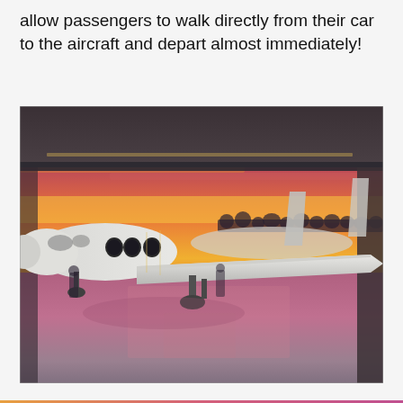allow passengers to walk directly from their car to the aircraft and depart almost immediately!
[Figure (photo): A private turboprop aircraft parked inside an aviation hangar with large open doors, revealing a vivid pink and orange sunset sky over an airport tarmac. The aircraft is white with multiple oval windows on the fuselage and a prominent wing visible. The hangar floor reflects the warm sunset colors.]